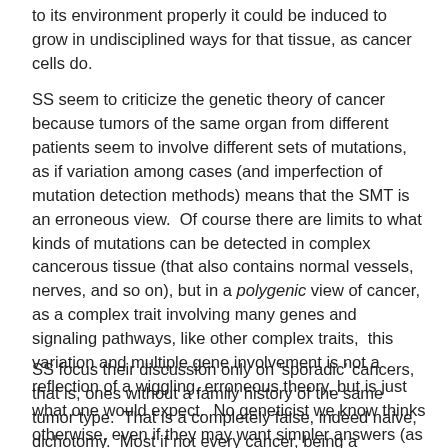to its environment properly it could be induced to grow in undisciplined ways for that tissue, as cancer cells do.
SS seem to criticize the genetic theory of cancer because tumors of the same organ from different patients seem to involve different sets of mutations, as if variation among cases (and imperfection of mutation detection methods) means that the SMT is an erroneous view.  Of course there are limits to what kinds of mutations can be detected in complex cancerous tissue (that also contains normal vessels, nerves, and so on), but in a polygenic view of cancer, as a complex trait involving many genes and signaling pathways, like other complex traits,  this variation and multiple gene involvement is not a reflection of a wiggling, erroneous theory, but is just what one would expect.  No geneticist we know thinks otherwise, even if they may want simpler answers (as many GWASers do).
SS focus their discussion only on 'sporadic' cancers, that is, ones without a family history of the same tumor type.  That is a completely false, indeed naive, dichotomy.  Most if not every cancer, being a polygenic trait, will involve some